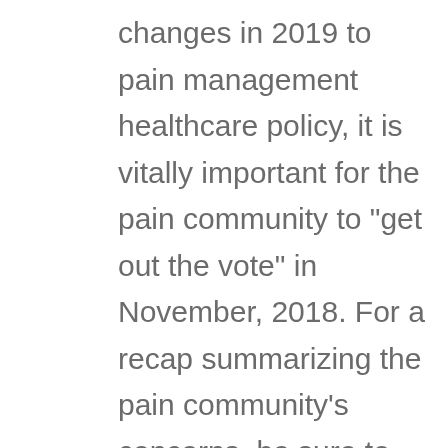changes in 2019 to pain management healthcare policy, it is vitally important for the pain community to "get out the vote" in November, 2018. For a recap summarizing the pain community's concerns, be sure to check out Pain Advocacy Coalition's (PAC) platform. Primarily, there is